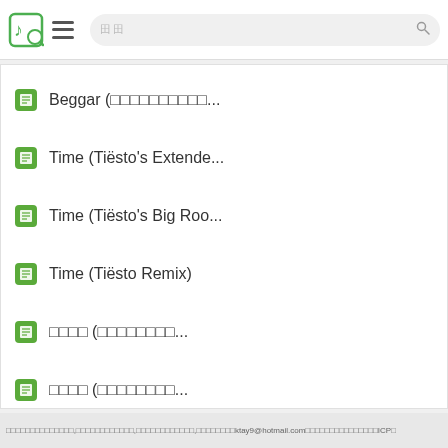Music search app header with logo, hamburger menu, and search bar
Beggar (□□□□□□□□□□...
Time (Tiësto's Extende...
Time (Tiësto's Big Roo...
Time (Tiësto Remix)
□□□□ (□□□□□□□□...
□□□□ (□□□□□□□□...
□□□□
□□
□□□□□□□□□□□□□□,□□□□□□□□□□□□,□□□□□□□□□□□□,□□□□□□□□ktay9@hotmail.com□□□□□□□□□□□□□□□ICP□